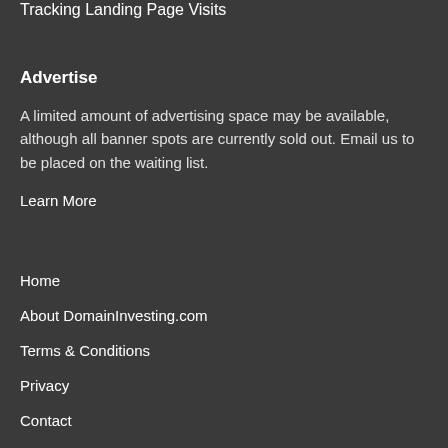Tracking Landing Page Visits
Advertise
A limited amount of advertising space may be available, although all banner spots are currently sold out. Email us to be placed on the waiting list.
Learn More
Home
About DomainInvesting.com
Terms & Conditions
Privacy
Contact